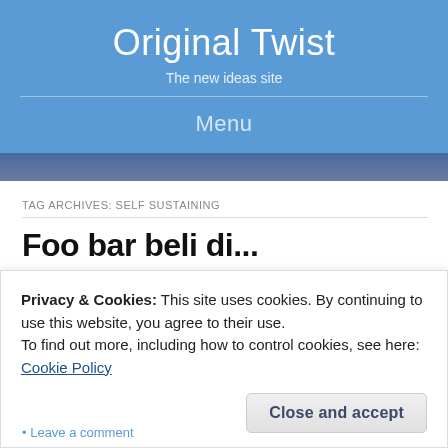Original Twist
The new ideas site
Menu
TAG ARCHIVES: SELF SUSTAINING
Foo...bar...beli...di...
Privacy & Cookies: This site uses cookies. By continuing to use this website, you agree to their use.
To find out more, including how to control cookies, see here: Cookie Policy
Close and accept
Leave a comment